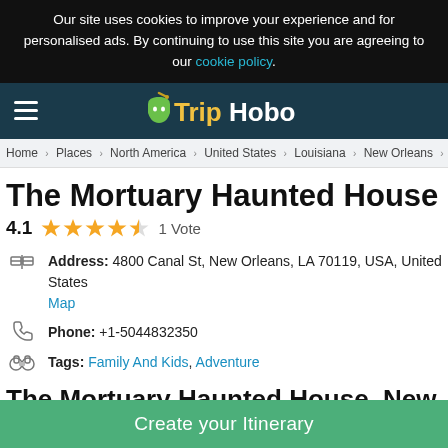Our site uses cookies to improve your experience and for personalised ads. By continuing to use this site you are agreeing to our cookie policy.
TripHobo
Home > Places > North America > United States > Louisiana > New Orleans > Things To
The Mortuary Haunted House
4.1 ★★★★½ 1 Vote
Address: 4800 Canal St, New Orleans, LA 70119, USA, United States Map
Phone: +1-5044832350
Tags: Family And Kids, Adventure
The Mortuary Haunted House, New
Create your Itinerary